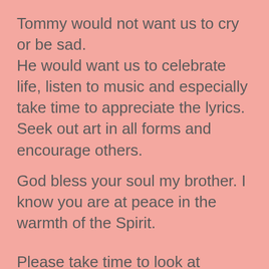Tommy would not want us to cry or be sad. He would want us to celebrate life, listen to music and especially take time to appreciate the lyrics. Seek out art in all forms and encourage others.
God bless your soul my brother. I know you are at peace in the warmth of the Spirit.
Please take time to look at Tommy's personal photography and writings: